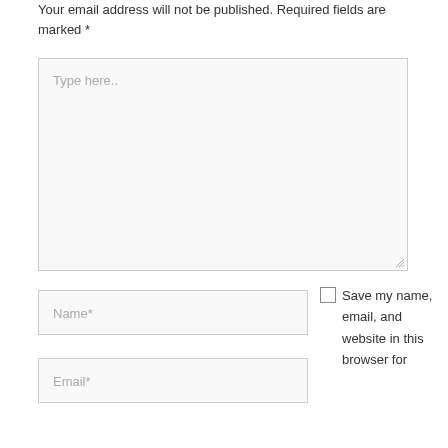Your email address will not be published. Required fields are marked *
[Figure (screenshot): Large text input area (textarea) with placeholder text 'Type here..' and a resize handle at bottom right]
[Figure (screenshot): Text input field with placeholder 'Name*']
[Figure (screenshot): Text input field with placeholder 'Email*']
Save my name, email, and website in this browser for